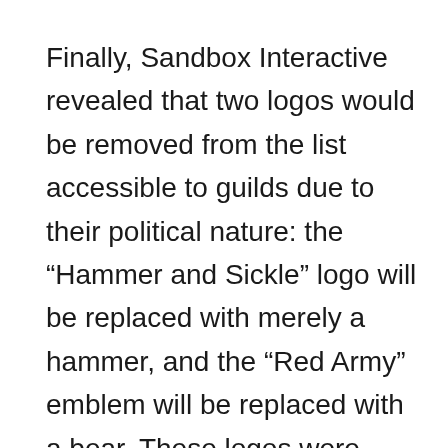Finally, Sandbox Interactive revealed that two logos would be removed from the list accessible to guilds due to their political nature: the “Hammer and Sickle” logo will be replaced with merely a hammer, and the “Red Army” emblem will be replaced with a bear. These logos were initially included to the game as part of a contest conducted before to the release of Albion, but given that they explicitly mention Russia, which is presently executing a violent invasion of Ukraine, they feel much less appropriate for the world of Albion now than they did before. According to SBI, any guild that uses such logos may ask to have